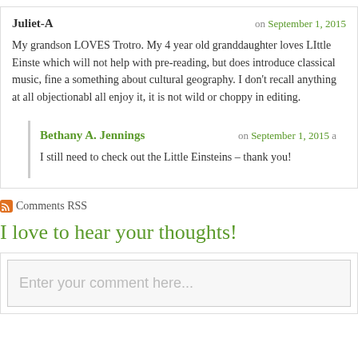Juliet-A on September 1, 2015
My grandson LOVES Trotro. My 4 year old granddaughter loves Little Einste... which will not help with pre-reading, but does introduce classical music, fine a... something about cultural geography. I don't recall anything at all objectionabl... all enjoy it, it is not wild or choppy in editing.
Bethany A. Jennings on September 1, 2015 a
I still need to check out the Little Einsteins – thank you!
Comments RSS
I love to hear your thoughts!
Enter your comment here...